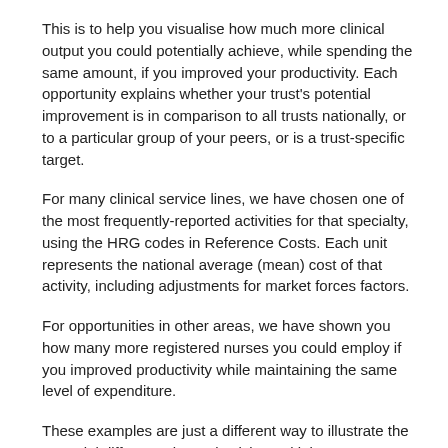This is to help you visualise how much more clinical output you could potentially achieve, while spending the same amount, if you improved your productivity. Each opportunity explains whether your trust's potential improvement is in comparison to all trusts nationally, or to a particular group of your peers, or is a trust-specific target.
For many clinical service lines, we have chosen one of the most frequently-reported activities for that specialty, using the HRG codes in Reference Costs. Each unit represents the national average (mean) cost of that activity, including adjustments for market forces factors.
For opportunities in other areas, we have shown you how many more registered nurses you could employ if you improved productivity while maintaining the same level of expenditure.
These examples are just a different way to illustrate the potential difference in productivity and it is up to trusts to uncover the reasons for variations, work out whether they are warranted or not, and realise any benefits in the way that provides the best outcomes for patients.